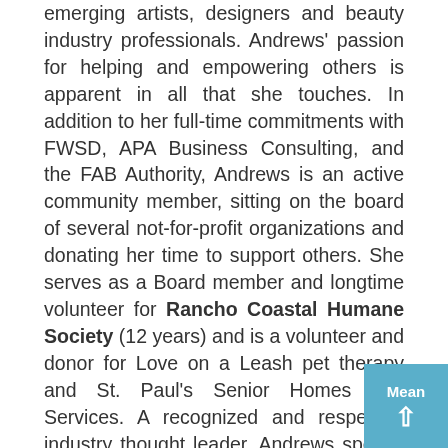emerging artists, designers and beauty industry professionals. Andrews' passion for helping and empowering others is apparent in all that she touches. In addition to her full-time commitments with FWSD, APA Business Consulting, and the FAB Authority, Andrews is an active community member, sitting on the board of several not-for-profit organizations and donating her time to support others. She serves as a Board member and longtime volunteer for Rancho Coastal Humane Society (12 years) and is a volunteer and donor for Love on a Leash pet therapy and St. Paul's Senior Homes and Services. A recognized and respected industry thought leader, Andrews speaks frequently at various San Diego events, led by professional organizations, as well as local colleges, graduations, networking events, seminars and other fashion events. In 2013, she was selected as a finalist for San Diego Business Journal's Women Who Mean Business Awards. Andrews holds an Associate of Arts degree in Merchandise Marketing from Fashion Institute of